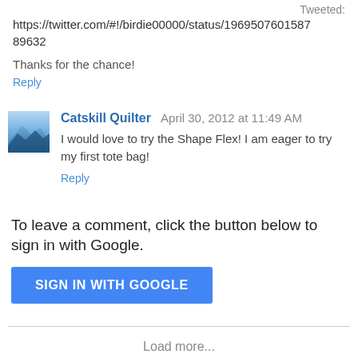Tweeted: https://twitter.com/#!/birdie00000/status/196950760158789632
Thanks for the chance!
Reply
Catskill Quilter  April 30, 2012 at 11:49 AM
I would love to try the Shape Flex! I am eager to try my first tote bag!
Reply
To leave a comment, click the button below to sign in with Google.
SIGN IN WITH GOOGLE
Load more...